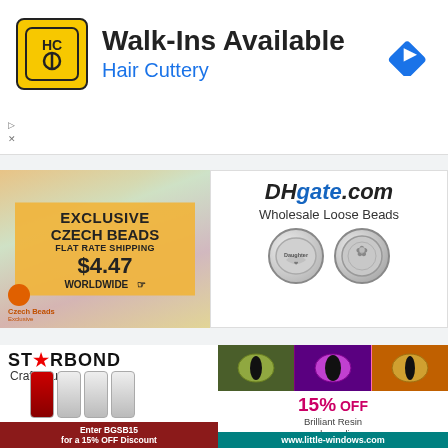[Figure (advertisement): Hair Cuttery ad: HC logo in yellow square, 'Walk-Ins Available' headline, 'Hair Cuttery' subtext in blue, Google Maps navigation icon]
[Figure (advertisement): Czech Beads ad: colorful beads background, 'EXCLUSIVE CZECH BEADS FLAT RATE SHIPPING $4.47 WORLDWIDE' on orange background with cursor icon]
[Figure (advertisement): DHgate.com ad: logo text, 'Wholesale Loose Beads', two silver charm beads]
[Figure (advertisement): Starbond Craft Glues ad: logo with star, glue bottles, 'Enter BGSB15 for a 15% OFF Discount' on dark red bar]
[Figure (advertisement): Little Windows ad: colorful animal eyes photos, '15% OFF Brilliant Resin and supplies enter BG1516', www.little-windows.com bar]